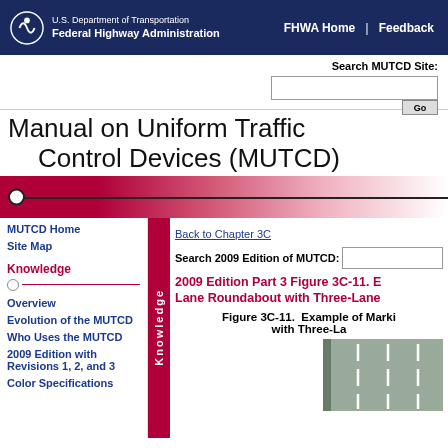U.S. Department of Transportation | Federal Highway Administration | FHWA Home | Feedback
Search MUTCD Site:
Manual on Uniform Traffic Control Devices (MUTCD)
Back to Chapter 3C
Search 2009 Edition of MUTCD:
2009 Edition Part 3 Figure 3C-11. Example of Marking for a Multi-Lane Roundabout with Three-Lane Approaches
Figure 3C-11.  Example of Marking for a Multi-Lane Roundabout with Three-La...
MUTCD Home
Site Map
Knowledge
Overview
Evolution of the MUTCD
Who Uses the MUTCD
2009 Edition with Revisions 1, 2, and 3
Color Specifications
[Figure (engineering-diagram): Partial view of a roundabout lane marking diagram showing road lanes with dashed white lines on gray pavement.]